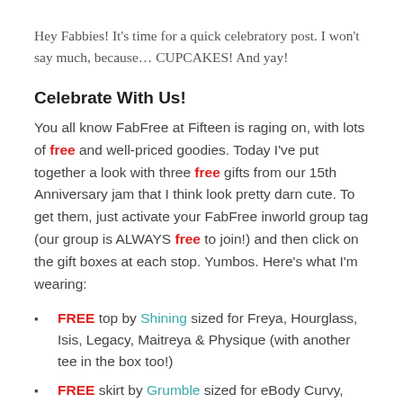Hey Fabbies!  It’s time for a quick celebratory post.  I won’t say much, because… CUPCAKES!  And yay!
Celebrate With Us!
You all know FabFree at Fifteen is raging on, with lots of free and well-priced goodies.  Today I’ve put together a look with three free gifts from our 15th Anniversary jam that I think look pretty darn cute.  To get them, just activate your FabFree inworld group tag (our group is ALWAYS free to join!) and then click on the gift boxes at each stop.  Yumbos.  Here’s what I’m wearing:
FREE top by Shining sized for Freya, Hourglass, Isis, Legacy, Maitreya & Physique (with another tee in the box too!)
FREE skirt by Grumble sized for eBody Curvy, Reborn,